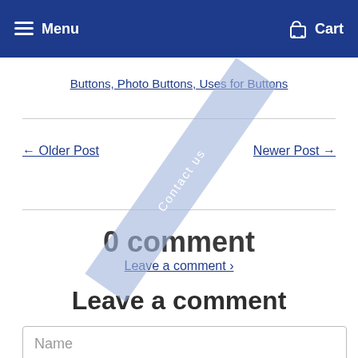Menu   Cart
Buttons, Photo Buttons, Uses for Buttons
← Older Post   Newer Post →
0 comment
Leave a comment ›
Leave a comment
Name
Email